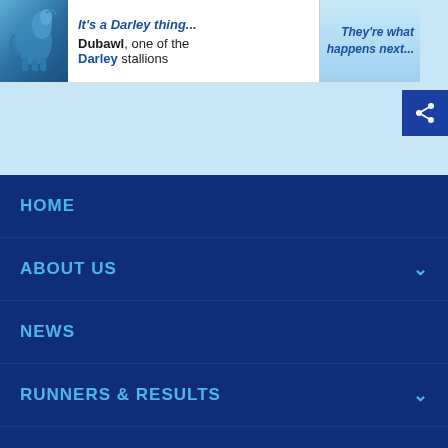[Figure (screenshot): Advertisement banner showing a blue horse image on the left, text 'Dubawl, one of the Darley stallions' in the center, and italic text 'They're what happens next...' on the right]
HOME
ABOUT US
NEWS
RUNNERS & RESULTS
HORSES